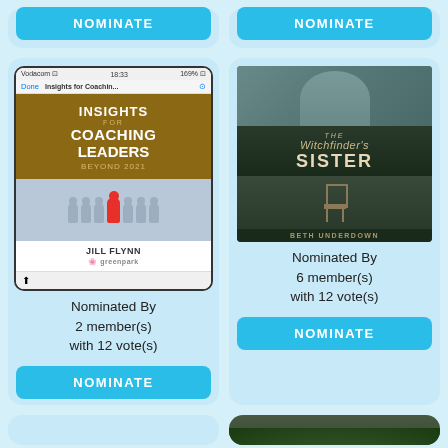[Figure (other): NOMINATE button card (top left, partially visible)]
[Figure (other): NOMINATE button card (top right, partially visible)]
[Figure (other): Book card: Insights for Coaching Leaders Beyond 2021 by Jill Flynn, shown as phone screenshot]
Nominated By 2 member(s) with 12 vote(s)
NOMINATE
[Figure (other): Book card: The Witchfinder's Sister by Beth Underdown, book cover with chair image]
Nominated By 6 member(s) with 12 vote(s)
NOMINATE
[Figure (photo): Bottom right card with nature/foliage image, partially visible]